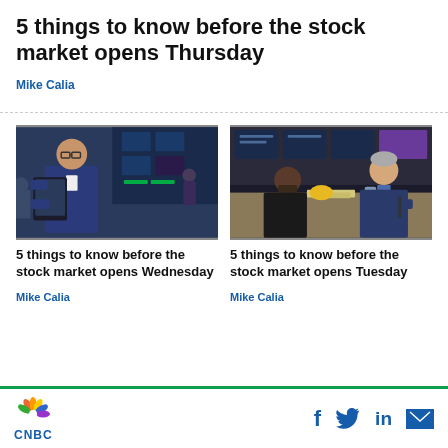5 things to know before the stock market opens Thursday
Mike Calia
[Figure (photo): Stock market trader holding a tablet on the NYSE trading floor]
5 things to know before the stock market opens Wednesday
Mike Calia
[Figure (photo): Two stock market traders working at a trading desk with multiple screens]
5 things to know before the stock market opens Tuesday
Mike Calia
CNBC — Facebook, Twitter, LinkedIn, Email